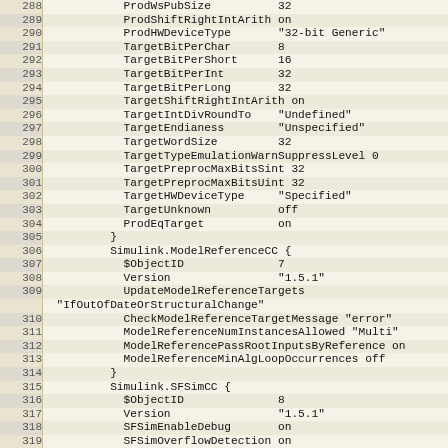Code listing lines 288-319 showing Simulink configuration parameters including ProdShiftRightIntArith, ProdHWDeviceType, TargetBitPerChar, TargetBitPerShort, TargetBitPerInt, TargetBitPerLong, TargetShiftRightIntArith, TargetIntDivRoundTo, TargetEndianess, TargetWordSize, TargetTypeEmulationWarnSuppressLevel, TargetPreprocMaxBitsSint, TargetPreprocMaxBitsUint, TargetHWDeviceType, TargetUnknown, ProdEqTarget, Simulink.ModelReferenceCC block, Simulink.SFSimCC block